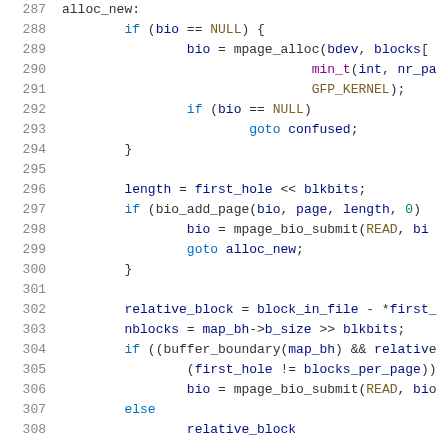Code listing lines 287-307, source code in C showing memory allocation logic with bio, mpage_alloc, mpage_bio_submit, buffer_boundary functions